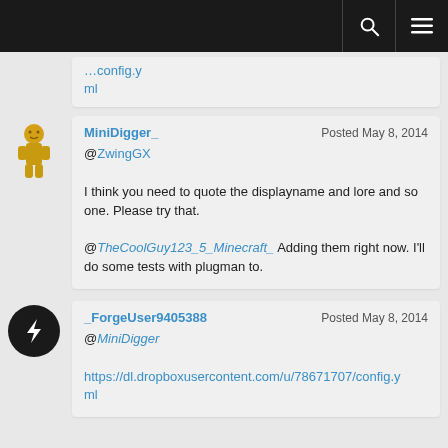[navigation bar with search and menu icons]
ml
MiniDigger_ Posted May 8, 2014
@ZwingGX
I think you need to quote the displayname and lore and so one. Please try that.
@TheCoolGuy123_5_Minecraft_ Adding them right now. I'll do some tests with plugman to.
_ForgeUser9405388 Posted May 8, 2014
@MiniDigger
https://dl.dropboxusercontent.com/u/78671707/config.yml